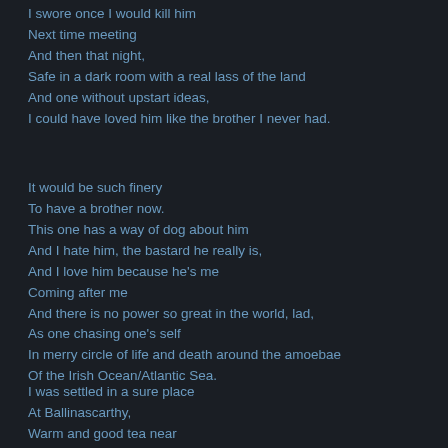I swore once I would kill him
Next time meeting
And then that night,
Safe in a dark room with a real lass of the land
And one without upstart ideas,
I could have loved him like the brother I never had.
It would be such finery
To have a brother now.
This one has a way of dog about him
And I hate him, the bastard he really is,
And I love him because he's me
Coming after me
And there is no power so great in the world, lad,
As one chasing one's self
In merry circle of life and death around the amoebae
Of the Irish Ocean/Atlantic Sea.
I was settled in a sure place
At Ballinascarthy,
Warm and good tea near
And more...